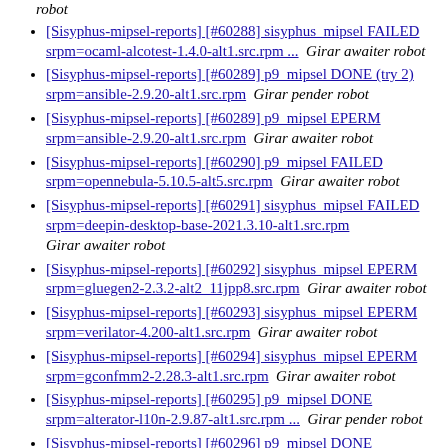robot
[Sisyphus-mipsel-reports] [#60288] sisyphus_mipsel FAILED srpm=ocaml-alcotest-1.4.0-alt1.src.rpm ...  Girar awaiter robot
[Sisyphus-mipsel-reports] [#60289] p9_mipsel DONE (try 2) srpm=ansible-2.9.20-alt1.src.rpm  Girar pender robot
[Sisyphus-mipsel-reports] [#60289] p9_mipsel EPERM srpm=ansible-2.9.20-alt1.src.rpm  Girar awaiter robot
[Sisyphus-mipsel-reports] [#60290] p9_mipsel FAILED srpm=opennebula-5.10.5-alt5.src.rpm  Girar awaiter robot
[Sisyphus-mipsel-reports] [#60291] sisyphus_mipsel FAILED srpm=deepin-desktop-base-2021.3.10-alt1.src.rpm  Girar awaiter robot
[Sisyphus-mipsel-reports] [#60292] sisyphus_mipsel EPERM srpm=gluegen2-2.3.2-alt2_11jpp8.src.rpm  Girar awaiter robot
[Sisyphus-mipsel-reports] [#60293] sisyphus_mipsel EPERM srpm=verilator-4.200-alt1.src.rpm  Girar awaiter robot
[Sisyphus-mipsel-reports] [#60294] sisyphus_mipsel EPERM srpm=gconfmm2-2.28.3-alt1.src.rpm  Girar awaiter robot
[Sisyphus-mipsel-reports] [#60295] p9_mipsel DONE srpm=alterator-l10n-2.9.87-alt1.src.rpm ...  Girar pender robot
[Sisyphus-mipsel-reports] [#60296] p9_mipsel DONE